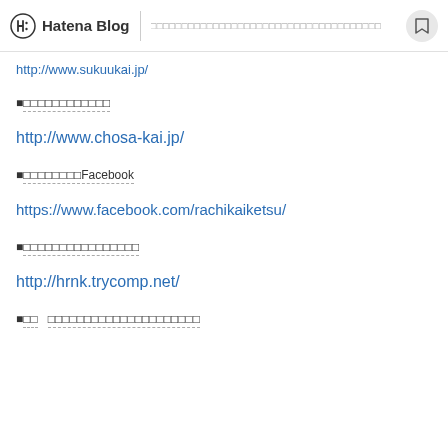Hatena Blog
http://www.sukuukai.jp/
■□□□□□□□□□□□
http://www.chosa-kai.jp/
■□□□□□□□□Facebook
https://www.facebook.com/rachikaiketsu/
■□□□□□□□□□□□□□□□
http://hrnk.trycomp.net/
■□□　□□□□□□□□□□□□□□□□□□□□□